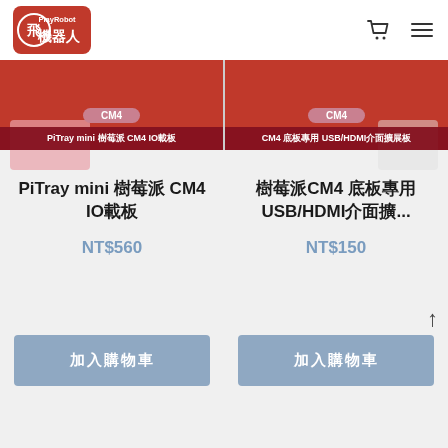[Figure (logo): PlayRobot 玩機器人 logo with red badge and Chinese text]
PiTray mini 樹莓派 CM4 IO載板
CM4 底板專用 USB/HDMI介面擴展板
PiTray mini 樹莓派 CM4 IO載板
NT$560
樹莓派CM4 底板專用 USB/HDMI介面擴...
NT$150
加入購物車
加入購物車